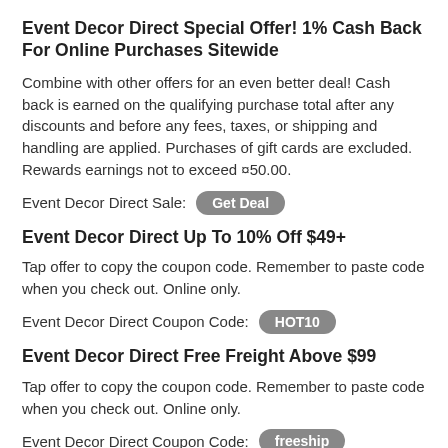Event Decor Direct Special Offer! 1% Cash Back For Online Purchases Sitewide
Combine with other offers for an even better deal! Cash back is earned on the qualifying purchase total after any discounts and before any fees, taxes, or shipping and handling are applied. Purchases of gift cards are excluded. Rewards earnings not to exceed ¤50.00.
Event Decor Direct Sale:  [Get Deal]
Event Decor Direct Up To 10% Off $49+
Tap offer to copy the coupon code. Remember to paste code when you check out. Online only.
Event Decor Direct Coupon Code:  [HOT10]
Event Decor Direct Free Freight Above $99
Tap offer to copy the coupon code. Remember to paste code when you check out. Online only.
Event Decor Direct Coupon Code:  [freeship]
Event Decor Direct $25 Away Purchases Of $299+